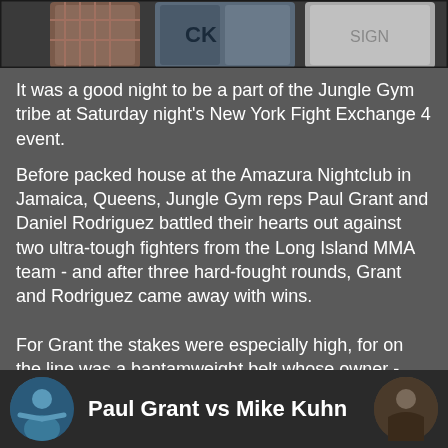[Figure (photo): Photo strip at top showing people at an event, partially cropped]
It was a good night to be a part of the Jungle Gym tribe at Saturday night's New York Fight Exchange 4 event.
Before packed house at the Amazura Nightclub in Jamaica, Queens, Jungle Gym reps Paul Grant and Daniel Rodriguez battled their hearts out against two ultra-tough fighters from the Long Island MMA team - and after three hard-fought rounds, Grant and Rodriguez came away with wins.
For Grant the stakes were especially high, for on the line was a bantamweight belt whose owner - elite grappler Mike Kuhn - had no desire to give away easily. But after a first round that saw Kuhn exhibit some insane aggression and fluidity, it was all about the concise and constant jiu-jitsu barrage of Grant. He took home the clear-cut unanimous decision when time ran out.
[Figure (photo): Bottom strip showing Paul Grant vs Mike Kuhn with avatar photos on left and right sides]